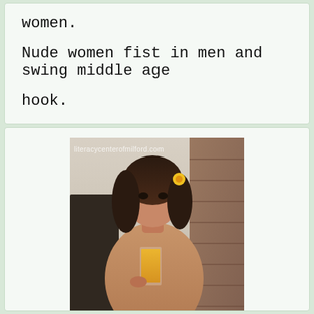women.
Nude women fist in men and swing middle age hook.
[Figure (photo): A woman with dark curly hair and a yellow flower in her hair, holding a glass of orange juice. Watermark reads: literacycenterofmilford.com]